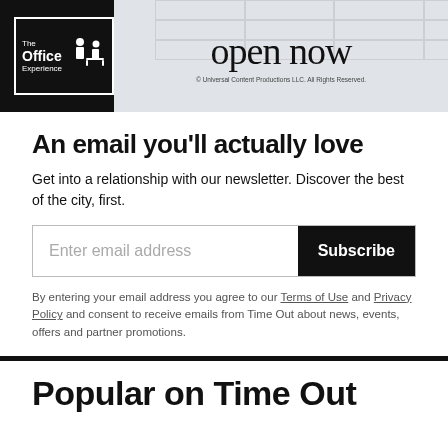[Figure (advertisement): The Office Experience advertisement banner with 'open now' text on grey background]
An email you'll actually love
Get into a relationship with our newsletter. Discover the best of the city, first.
[Figure (other): Email subscription form with input field and Subscribe button]
By entering your email address you agree to our Terms of Use and Privacy Policy and consent to receive emails from Time Out about news, events, offers and partner promotions.
Popular on Time Out